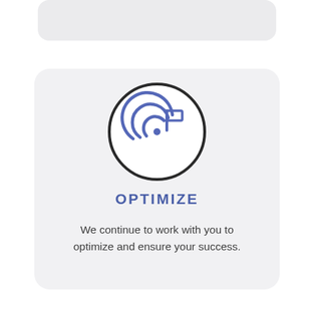[Figure (illustration): Target/goal icon with concentric rings and a flag on top, inside a circular border outline]
OPTIMIZE
We continue to work with you to optimize and ensure your success.